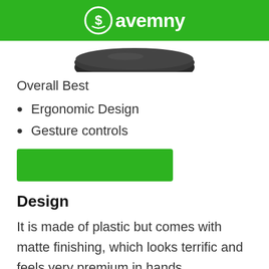Savemny
[Figure (photo): Bottom portion of a dark/black rounded product (speaker or smart device) visible against white background]
Overall Best
Ergonomic Design
Gesture controls
[Figure (other): Green rectangular button/banner]
Design
It is made of plastic but comes with matte finishing, which looks terrific and feels very premium in hands.